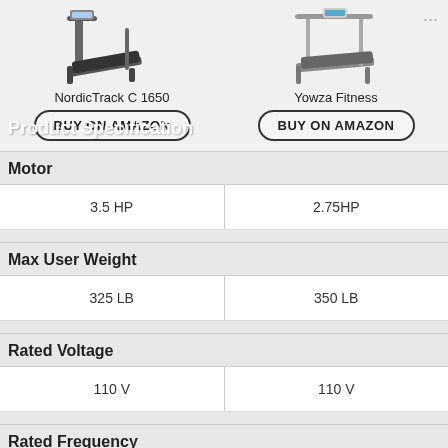Product Specification
[Figure (photo): NordicTrack C 1650 treadmill product image]
[Figure (photo): Yowza Fitness treadmill product image]
NordicTrack C 1650
BUY ON AMAZON
Yowza Fitness
BUY ON AMAZON
| Motor |  |  |
| --- | --- | --- |
| 3.5 HP | 2.75HP |
| Max User Weight |  |  |
| 325 LB | 350 LB |
| Rated Voltage |  |  |
| 110 V | 110 V |
| Rated Frequency |  |  |